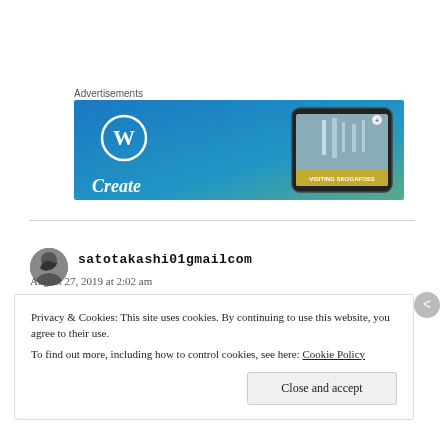Advertisements
[Figure (illustration): WordPress advertisement banner showing the WordPress logo on a blue-to-green gradient background, with text 'Create' at bottom left, and a phone displaying a waterfall photo labeled 'VISITING SKOGAFOSS' on the right side.]
satotakashi01gmailcom
August 27, 2019 at 2:02 am
Privacy & Cookies: This site uses cookies. By continuing to use this website, you agree to their use.
To find out more, including how to control cookies, see here: Cookie Policy
Close and accept